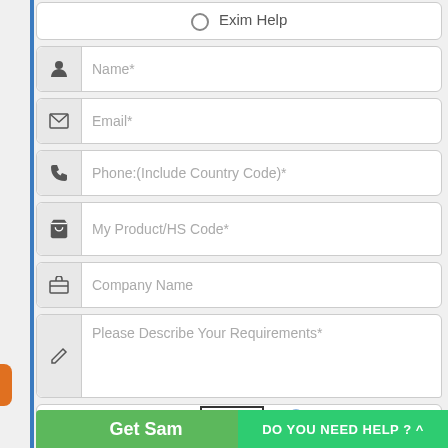○ Exim Help
Name*
Email*
Phone:(Include Country Code)*
My Product/HS Code*
Company Name
Please Describe Your Requirements*
1 + 8
Get Sample
DO YOU NEED HELP ? ^